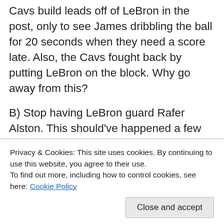Cavs build leads off of LeBron in the post, only to see James dribbling the ball for 20 seconds when they need a score late. Also, the Cavs fought back by putting LeBron on the block. Why go away from this?
B) Stop having LeBron guard Rafer Alston. This should've happened a few games ago. LeBron keeps floating off of Rafer to go guard other guys and it's leaving the streaky shooter wide open. Plus, in transition, the Cavs have a hard time matching up quickly because they're chasing after guys who aren't guarding them. Just stick Bron-Bron on…
Privacy & Cookies: This site uses cookies. By continuing to use this website, you agree to their use. To find out more, including how to control cookies, see here: Cookie Policy
keep LeBron on the ball. They had a 6 point lead at